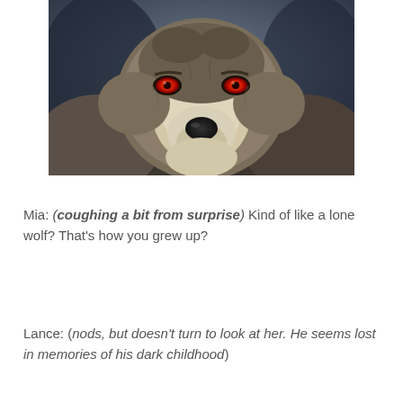[Figure (photo): Close-up photograph of a wolf with red glowing eyes and grey fur against a dark blurred background]
Mia: (coughing a bit from surprise) Kind of like a lone wolf? That's how you grew up?
Lance: (nods, but doesn't turn to look at her. He seems lost in memories of his dark childhood)